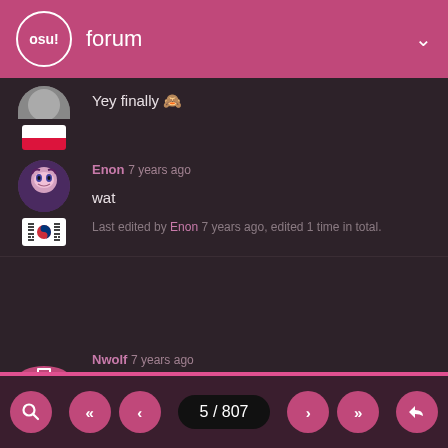osu! forum
Yey finally 😬
Enon 7 years ago
wat
Last edited by Enon 7 years ago, edited 1 time in total.
Nwolf 7 years ago
Hype hype
A little sheet with all the big tournaments and the maps they used.
5 / 807